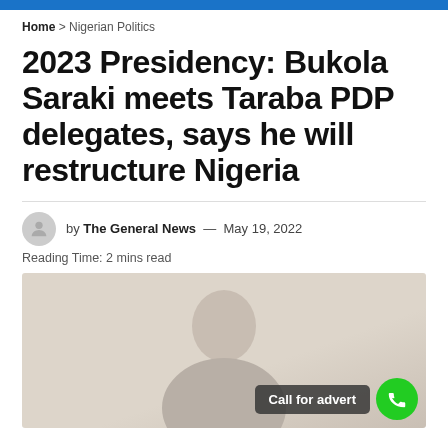Home > Nigerian Politics
2023 Presidency: Bukola Saraki meets Taraba PDP delegates, says he will restructure Nigeria
by The General News — May 19, 2022
Reading Time: 2 mins read
[Figure (photo): Photo of a person (silhouette/blurred), with a 'Call for advert' button and green phone icon button overlaid at the bottom right.]